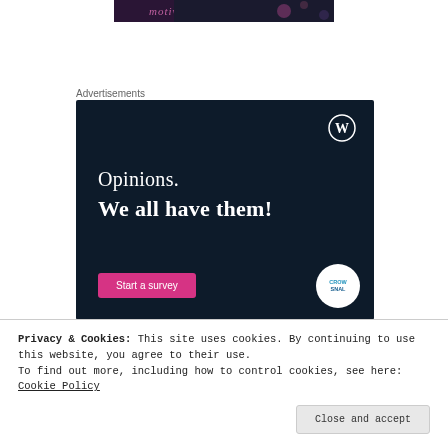[Figure (illustration): Top banner strip with dark background showing the text 'motivates' in stylized pink/purple lettering with decorative patterns]
Advertisements
[Figure (infographic): WordPress advertisement on dark navy background. Shows WordPress (W) logo in top right. Text reads: 'Opinions. We all have them!' with a pink 'Start a survey' button and Crowdsignal logo in bottom right.]
Privacy & Cookies: This site uses cookies. By continuing to use this website, you agree to their use.
To find out more, including how to control cookies, see here: Cookie Policy
Close and accept